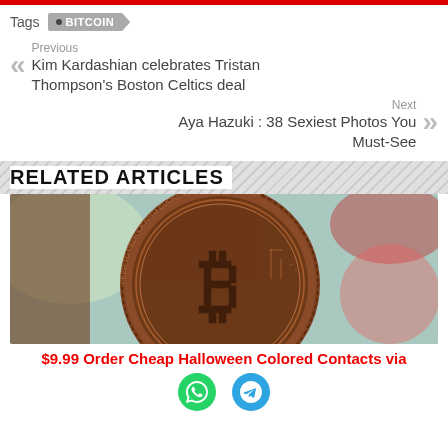Tags  BITCOIN
Previous
Kim Kardashian celebrates Tristan Thompson's Boston Celtics deal
Next
Aya Hazuki : 38 Sexiest Photos You Must-See
RELATED ARTICLES
[Figure (photo): Close-up photograph of a bronze/copper Bitcoin physical coin with circuit board texture and B logo]
$9.99 Order Cheap Halloween Colored Contacts via